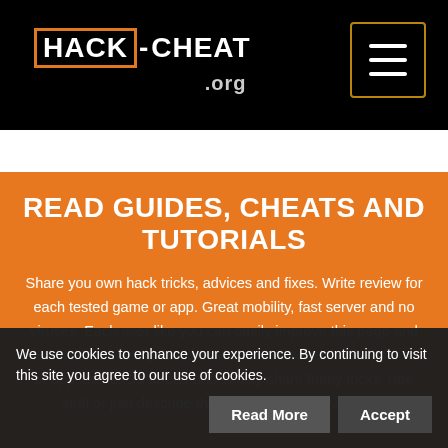HACK-CHEAT.org
READ GUIDES, CHEATS AND TUTORIALS
Share you own hack tricks, advices and fixes. Write review for each tested game or app. Great mobility, fast server and no viruses. Each user like you can easily improve this page and make it more friendly for other visitors. Leave small help for rest of app' users. Go ahead and simply share funny tricks, rate stuff or just describe the way to get the advantage.
We use cookies to enhance your experience. By continuing to visit this site you agree to our use of cookies.